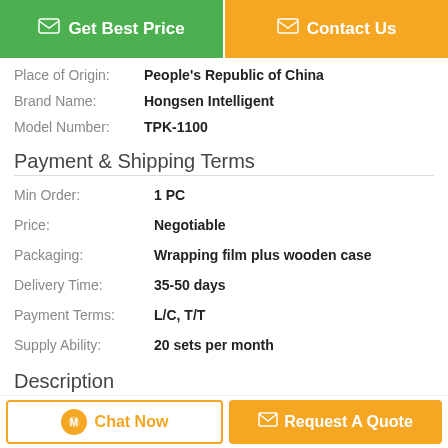[Figure (other): Two action buttons: 'Get Best Price' (green) and 'Contact Us' (orange)]
Place of Origin: People's Republic of China
Brand Name: Hongsen Intelligent
Model Number: TPK-1100
Payment & Shipping Terms
Min Order: 1 PC
Price: Negotiable
Packaging: Wrapping film plus wooden case
Delivery Time: 35-50 days
Payment Terms: L/C, T/T
Supply Ability: 20 sets per month
Description
[Figure (other): Two bottom action buttons: 'Chat Now' (outlined orange) and 'Request A Quote' (filled orange)]